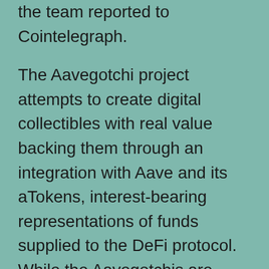the team reported to Cointelegraph.
The Aavegotchi project attempts to create digital collectibles with real value backing them through an integration with Aave and its aTokens, interest-bearing representations of funds supplied to the DeFi protocol. While the Aavegotchis are designed to incorporate some gaming and collection elements to them, inspired by the handheld Tamagotchi devices popular in the early 2000s, they are also an experiment of tying digital collectibles to real value. The aTokens locked within the NFT cannot be extracted without destroying the